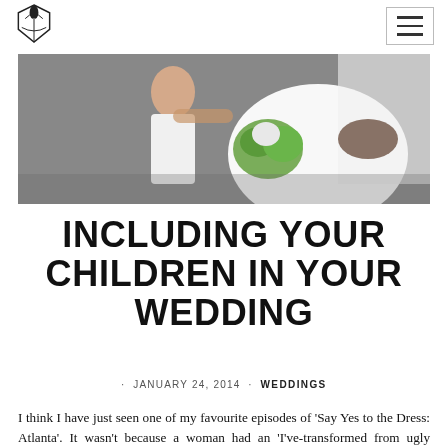[Logo] [Hamburger menu]
[Figure (photo): Wedding photo showing a young girl in a white dress being embraced by a bride holding a green and white bouquet, with a veil visible]
INCLUDING YOUR CHILDREN IN YOUR WEDDING
· JANUARY 24, 2014 · WEDDINGS
I think I have just seen one of my favourite episodes of 'Say Yes to the Dress: Atlanta'. It wasn't because a woman had an 'I've-transformed from ugly duckling to swan princess'… moment